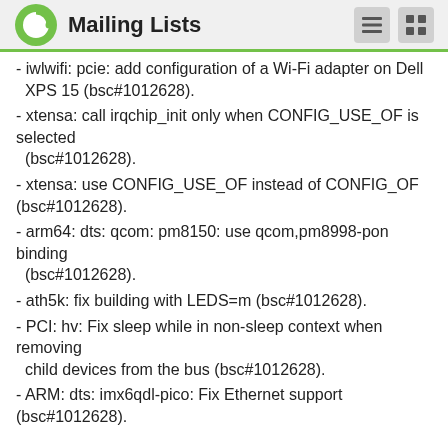Mailing Lists
- iwlwifi: pcie: add configuration of a Wi-Fi adapter on Dell XPS 15 (bsc#1012628).
- xtensa: call irqchip_init only when CONFIG_USE_OF is selected (bsc#1012628).
- xtensa: use CONFIG_USE_OF instead of CONFIG_OF (bsc#1012628).
- arm64: dts: qcom: pm8150: use qcom,pm8998-pon binding (bsc#1012628).
- ath5k: fix building with LEDS=m (bsc#1012628).
- PCI: hv: Fix sleep while in non-sleep context when removing child devices from the bus (bsc#1012628).
- ARM: dts: imx6qdl-pico: Fix Ethernet support (bsc#1012628).